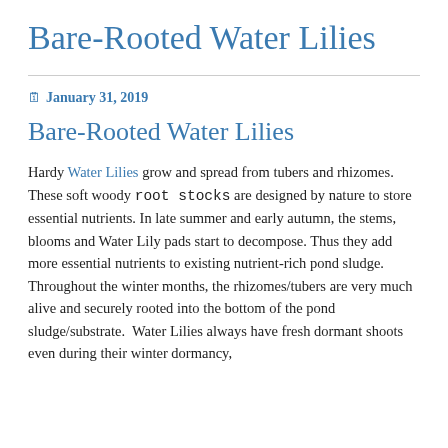Bare-Rooted Water Lilies
January 31, 2019
Bare-Rooted Water Lilies
Hardy Water Lilies grow and spread from tubers and rhizomes.  These soft woody root stocks are designed by nature to store essential nutrients. In late summer and early autumn, the stems, blooms and Water Lily pads start to decompose. Thus they add more essential nutrients to existing nutrient-rich pond sludge.  Throughout the winter months, the rhizomes/tubers are very much alive and securely rooted into the bottom of the pond sludge/substrate.  Water Lilies always have fresh dormant shoots even during their winter dormancy,